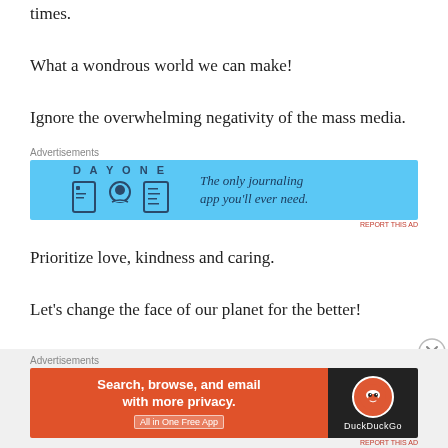times.
What a wondrous world we can make!
Ignore the overwhelming negativity of the mass media.
[Figure (illustration): Day One journaling app advertisement banner in blue: icons of a book, person, and notepad with text 'The only journaling app you'll ever need.']
Prioritize love, kindness and caring.
Let's change the face of our planet for the better!
[Figure (illustration): DuckDuckGo advertisement banner: orange background with 'Search, browse, and email with more privacy. All in One Free App' and DuckDuckGo logo on dark background.]